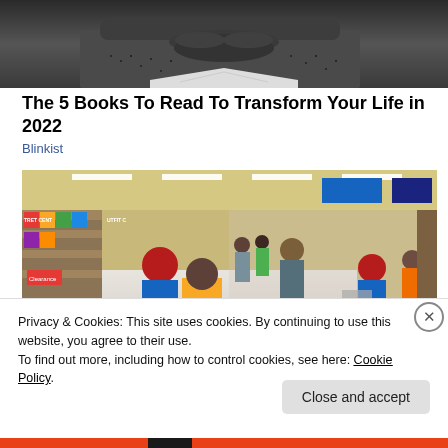[Figure (photo): Close-up black and white photo of a man's lower face with beard stubble]
The 5 Books To Read To Transform Your Life in 2022
Blinkist
[Figure (photo): Busy Walmart store aisle with shoppers and shopping carts, colorful product displays]
Privacy & Cookies: This site uses cookies. By continuing to use this website, you agree to their use.
To find out more, including how to control cookies, see here: Cookie Policy
Close and accept